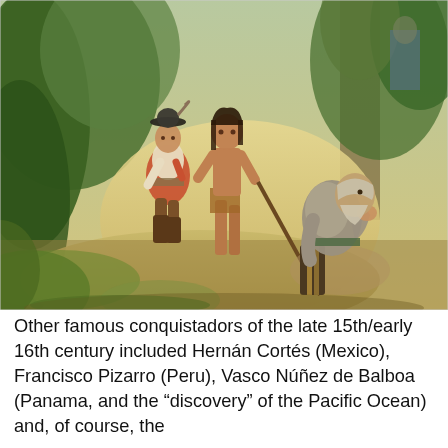[Figure (illustration): A painting depicting conquistadors and a Native American figure in a jungle/forest setting. On the right, an older white-bearded man in armor kneels. In the center-left, a bare-chested Native American man holds a long staff/spear. Behind him, a shorter conquistador in a plumed hat and colorful outfit stands. Lush green and golden tropical vegetation fills the background.]
Other famous conquistadors of the late 15th/early 16th century included Hernán Cortés (Mexico), Francisco Pizarro (Peru), Vasco Núñez de Balboa (Panama, and the "discovery" of the Pacific Ocean) and, of course, the